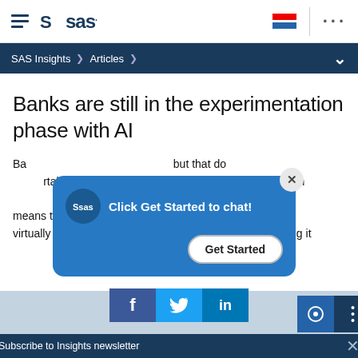SAS logo navigation with hamburger menu, flag icon, dots menu
SAS Insights > Articles >
Banks are still in the experimentation phase with AI
Banks are still in the experimentation phase with AI, but that doesn't mean they're not getting comfortable, making that transition. We're in the 'seeing what works' phase, said, "which means that we're seeing a strong appetite to use AI virtually anywhere it can conceivably provide value, driving it
[Figure (screenshot): SAS chat popup overlay with blue background, SAS logo circle, text 'Click Get Started to chat!', and a 'Get Started' button]
Subscribe to Insights newsletter
[Figure (infographic): Social share buttons: Facebook (f), Twitter (bird), LinkedIn (in)]